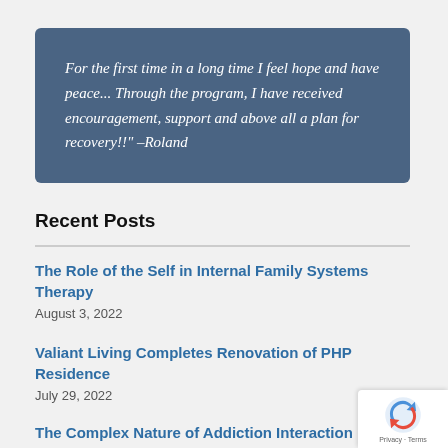For the first time in a long time I feel hope and have peace... Through the program, I have received encouragement, support and above all a plan for recovery!!" –Roland
Recent Posts
The Role of the Self in Internal Family Systems Therapy
August 3, 2022
Valiant Living Completes Renovation of PHP Residence
July 29, 2022
The Complex Nature of Addiction Interaction